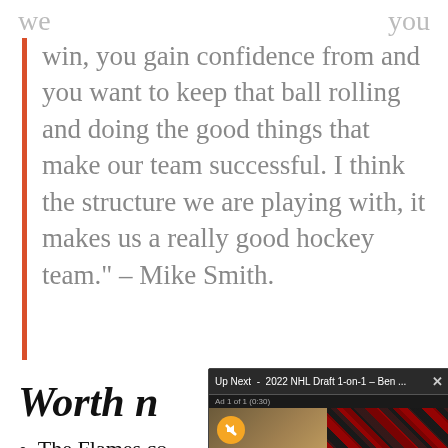win, you gain confidence from and you want to keep that ball rolling and doing the good things that make our team successful. I think the structure we are playing with, it makes us a really good hockey team." – Mike Smith.
Worth n…
The Flames co… a one-man tea… together a wo… Edmonton's 4-…
[Figure (screenshot): Video popup overlay showing 'Up Next - 2022 NHL Draft 1-on-1 – Ben …' with ad label 'Ad 1 of 1 (0:30)', showing two people in a split-screen video. Left person is Ben Hemmerling, right person is Chris Wahl. NHL Draft branding visible. Yellow mute button shown.]